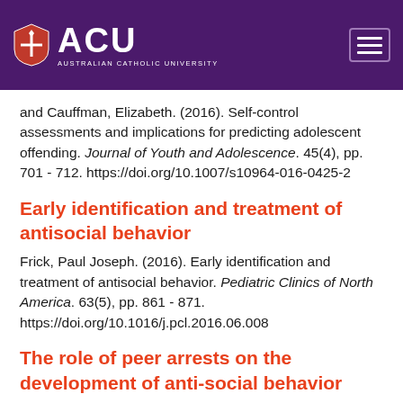[Figure (logo): Australian Catholic University (ACU) logo with shield and navigation hamburger menu on purple header background]
and Cauffman, Elizabeth. (2016). Self-control assessments and implications for predicting adolescent offending. Journal of Youth and Adolescence. 45(4), pp. 701 - 712. https://doi.org/10.1007/s10964-016-0425-2
Early identification and treatment of antisocial behavior
Frick, Paul Joseph. (2016). Early identification and treatment of antisocial behavior. Pediatric Clinics of North America. 63(5), pp. 861 - 871. https://doi.org/10.1016/j.pcl.2016.06.008
The role of peer arrests on the development of anti-social behavior